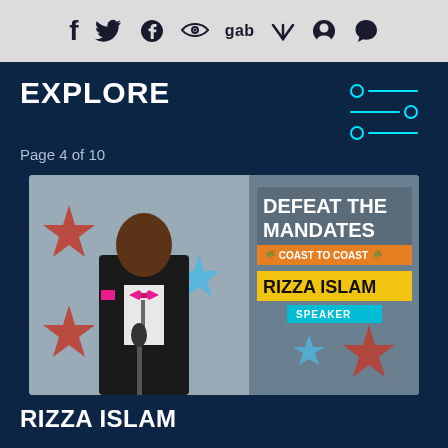f [twitter] [parler] gab [telegram] [reddit] [whatsapp]
EXPLORE
Page 4 of 10
[Figure (photo): A man in a black suit with a pink bow tie and pocket square speaking at a podium with a microphone. Behind him is a banner with stars. On the right side of the image is text reading 'DEFEAT THE MANDATES COAST TO COAST RIZZA ISLAM SPEAKER']
RIZZA ISLAM